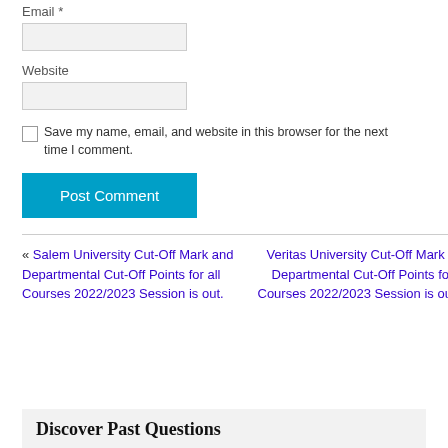Email *
Website
Save my name, email, and website in this browser for the next time I comment.
Post Comment
« Salem University Cut-Off Mark and Departmental Cut-Off Points for all Courses 2022/2023 Session is out.
Veritas University Cut-Off Mark and Departmental Cut-Off Points for all Courses 2022/2023 Session is out. »
Discover Past Questions